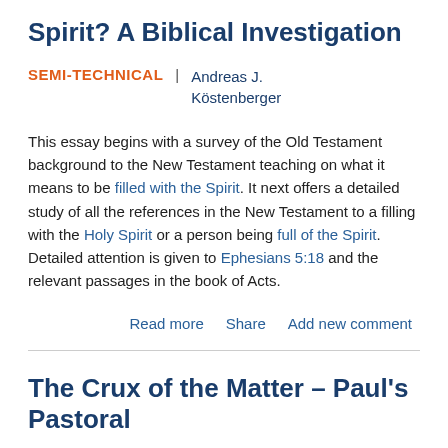Spirit? A Biblical Investigation
SEMI-TECHNICAL | Andreas J. Köstenberger
This essay begins with a survey of the Old Testament background to the New Testament teaching on what it means to be filled with the Spirit. It next offers a detailed study of all the references in the New Testament to a filling with the Holy Spirit or a person being full of the Spirit. Detailed attention is given to Ephesians 5:18 and the relevant passages in the book of Acts.
Read more   Share   Add new comment
The Crux of the Matter – Paul's Pastoral Pronouncements Regarding Women's